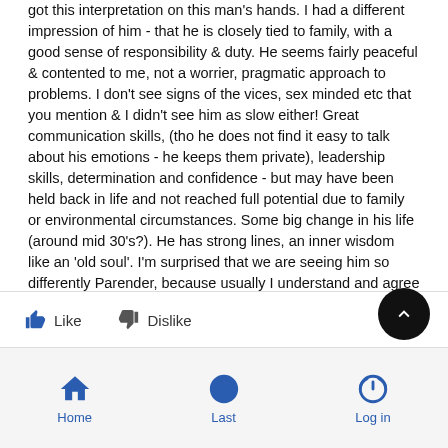Hi Parender I would be interested to know which features you got this interpretation on this man's hands. I had a different impression of him - that he is closely tied to family, with a good sense of responsibility & duty. He seems fairly peaceful & contented to me, not a worrier, pragmatic approach to problems. I don't see signs of the vices, sex minded etc that you mention & I didn't see him as slow either! Great communication skills, (tho he does not find it easy to talk about his emotions - he keeps them private), leadership skills, determination and confidence - but may have been held back in life and not reached full potential due to family or environmental circumstances. Some big change in his life (around mid 30's?). He has strong lines, an inner wisdom like an 'old soul'. I'm surprised that we are seeing him so differently Parender, because usually I understand and agree with your interpretations. 🤗
Like   Dislike   Home   Last   Log in